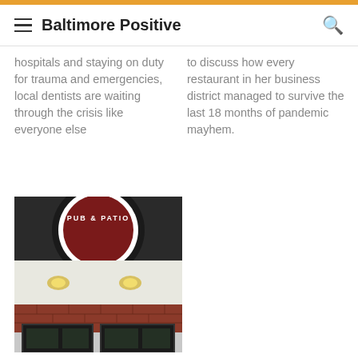Baltimore Positive
hospitals and staying on duty for trauma and emergencies, local dentists are waiting through the crisis like everyone else
to discuss how every restaurant in her business district managed to survive the last 18 months of pandemic mayhem.
[Figure (photo): Pub & Patio restaurant sign on brick building exterior with overhead lights]
Wagner tells Towson CVP story